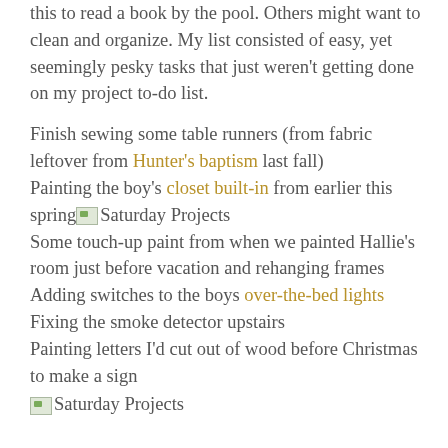this to read a book by the pool. Others might want to clean and organize. My list consisted of easy, yet seemingly pesky tasks that just weren't getting done on my project to-do list.
Finish sewing some table runners (from fabric leftover from Hunter's baptism last fall)
Painting the boy's closet built-in from earlier this spring [Saturday Projects image]
Some touch-up paint from when we painted Hallie's room just before vacation and rehanging frames
Adding switches to the boys over-the-bed lights
Fixing the smoke detector upstairs
Painting letters I'd cut out of wood before Christmas to make a sign
[Figure (photo): Saturday Projects broken image placeholder at bottom of page]